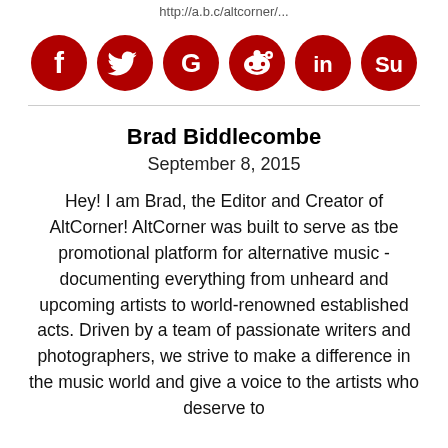http://a.b.c/altcorner/...
[Figure (illustration): Six red circular social media icon buttons: Facebook, Twitter, Google+, Reddit, LinkedIn, StumbleUpon]
Brad Biddlecombe
September 8, 2015
Hey! I am Brad, the Editor and Creator of AltCorner! AltCorner was built to serve as tbe promotional platform for alternative music - documenting everything from unheard and upcoming artists to world-renowned established acts. Driven by a team of passionate writers and photographers, we strive to make a difference in the music world and give a voice to the artists who deserve to